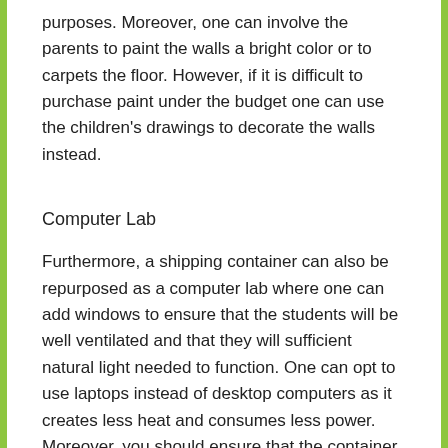purposes. Moreover, one can involve the parents to paint the walls a bright color or to carpets the floor. However, if it is difficult to purchase paint under the budget one can use the children's drawings to decorate the walls instead.
Computer Lab
Furthermore, a shipping container can also be repurposed as a computer lab where one can add windows to ensure that the students will be well ventilated and that they will sufficient natural light needed to function. One can opt to use laptops instead of desktop computers as it creates less heat and consumes less power. Moreover, you should ensure that the container is equipped with battery powered storage banks in order to ensure that the power would be kept on in case of adverse weather conditions.  Additionally in tropical countries in order to prevent the lab from